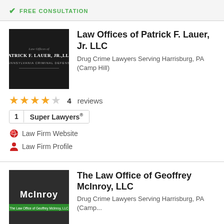✓ FREE CONSULTATION
[Figure (logo): Law Offices of Patrick F. Lauer Jr. LLC logo - dark background with firm name text]
Law Offices of Patrick F. Lauer, Jr. LLC
Drug Crime Lawyers Serving Harrisburg, PA (Camp Hill)
4 reviews
1 Super Lawyers®
Law Firm Website
Law Firm Profile
[Figure (logo): The Law Office of Geoffrey McInroy LLC logo - dark background with McInroy text and green bar]
The Law Office of Geoffrey McInroy, LLC
Drug Crime Lawyers Serving Harrisburg, PA (Camp...